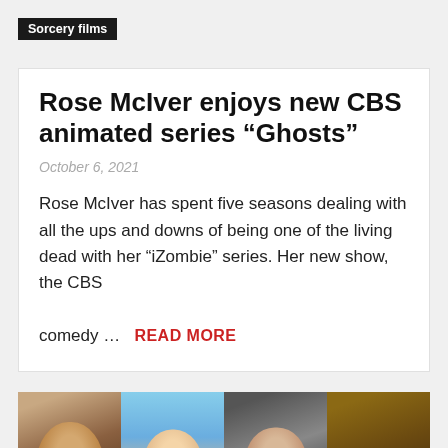Sorcery films
Rose McIver enjoys new CBS animated series “Ghosts”
October 6, 2021
Rose McIver has spent five seasons dealing with all the ups and downs of being one of the living dead with her “iZombie” series. Her new show, the CBS comedy …
READ MORE
[Figure (photo): A horizontal strip of four images: an Asian man's face, an anime character with brown hair, a man holding a weapon/gun, and a dark fantasy figure. A red circular navigation button is visible at bottom right.]